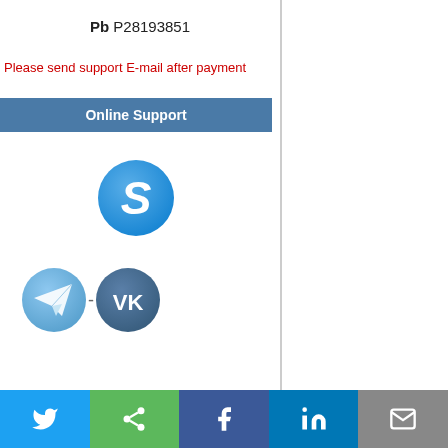Pb P28193851
Please send support E-mail after payment
Online Support
[Figure (logo): Skype logo - blue circle with white S letter]
[Figure (logo): Telegram logo (light blue circle with paper plane) and VK logo (dark blue circle with VK letters) side by side with dash separator]
Twitter share | Share | Facebook | LinkedIn | Email